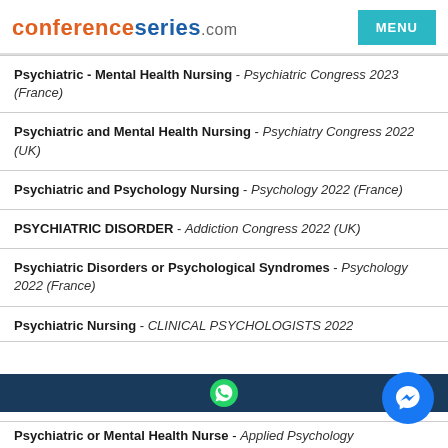conferenceseries.com  MENU
Psychiatric - Mental Health Nursing - Psychiatric Congress 2023 (France)
Psychiatric and Mental Health Nursing - Psychiatry Congress 2022 (UK)
Psychiatric and Psychology Nursing - Psychology 2022 (France)
PSYCHIATRIC DISORDER - Addiction Congress 2022 (UK)
Psychiatric Disorders or Psychological Syndromes - Psychology 2022 (France)
Psychiatric Nursing - CLINICAL PSYCHOLOGISTS 2022 (Thailand)
Psychiatric or Mental Health Nurse - Applied Psychology